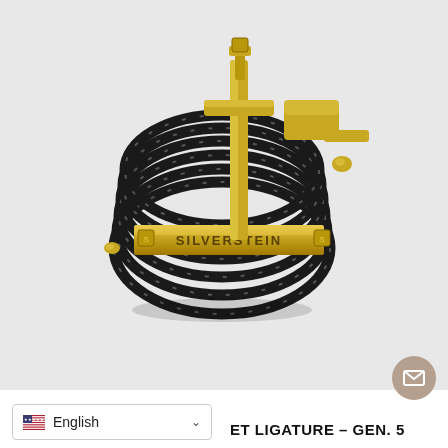[Figure (photo): Product photo of a Silverstein clarinet/saxophone ligature Gen. 5, shown in gold metal hardware with black braided rope/cord wrapping around the mouthpiece barrel. The gold bar in the center reads 'SILVERSTEIN' with logo stamps on each end. The ligature has multiple loops of black and white flecked cord with gold accent tips and a gold thumb screw mechanism at top.]
English
ET LIGATURE – GEN. 5